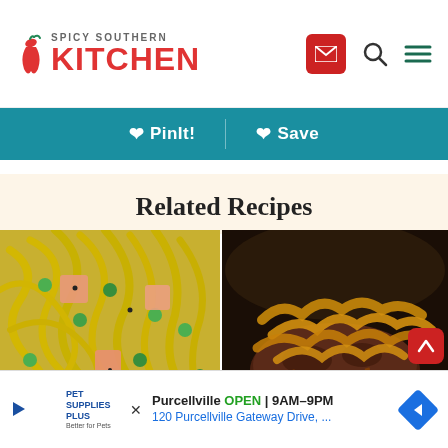[Figure (logo): Spicy Southern Kitchen logo with chili pepper graphic, red text]
[Figure (other): Teal navigation bar with PinIt! and Save buttons]
Related Recipes
[Figure (photo): Close-up of pasta with peas, ham cubes and yellow noodles]
[Figure (photo): Hamburger steak with caramelized onions on mashed potatoes]
[Figure (other): Pet Supplies Plus advertisement: Purcellville OPEN 9AM-9PM, 120 Purcellville Gateway Drive]